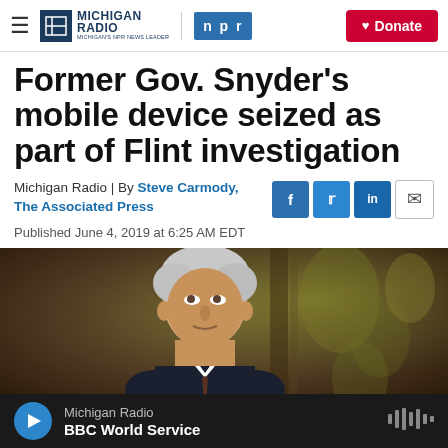Michigan Radio | NPR — Donate
Former Gov. Snyder's mobile device seized as part of Flint investigation
Michigan Radio | By Steve Carmody, The Associated Press
Published June 4, 2019 at 6:25 AM EDT
[Figure (photo): Photo of former Governor Snyder, an older white-haired man, photographed from below against an ornate backdrop with gold leaf pattern]
Michigan Radio — BBC World Service (audio player bar)